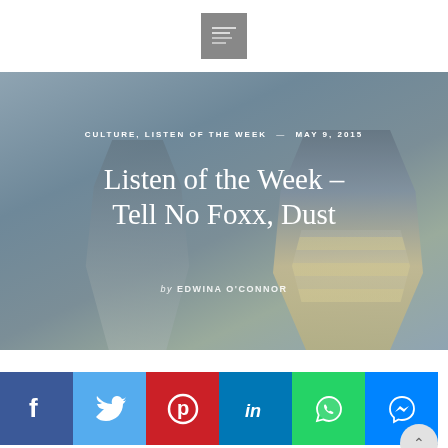[Figure (logo): Square logo with grey background and small white graphic inside]
CULTURE, LISTEN OF THE WEEK — MAY 9, 2015
Listen of the Week – Tell No Foxx, Dust
by EDWINA O'CONNOR
[Figure (photo): Two figures wearing geometric polygon masks against a grey-blue background]
[Figure (infographic): Social sharing icon bar showing Facebook, Twitter, Pinterest, LinkedIn, WhatsApp, Messenger icons]